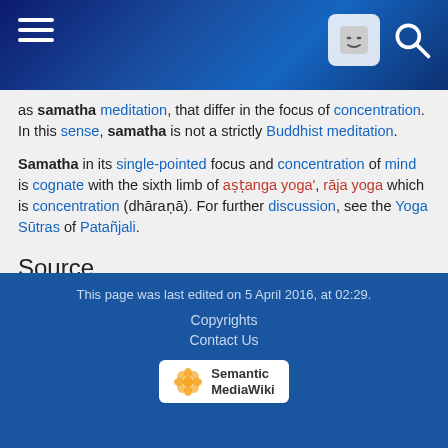Wikipedia Samatha page header bar
as samatha meditation, that differ in the focus of concentration. In this sense, samatha is not a strictly Buddhist meditation.
Samatha in its single-pointed focus and concentration of mind is cognate with the sixth limb of aṣṭanga yoga', rāja yoga which is concentration (dhāraṇā). For further discussion, see the Yoga Sūtras of Patañjali.
Source
Wikipedia:Samatha
Categories:  Buddhist Terms  |  Samatha
This page was last edited on 5 April 2016, at 02:29. Copyrights Contact Us Semantic MediaWiki